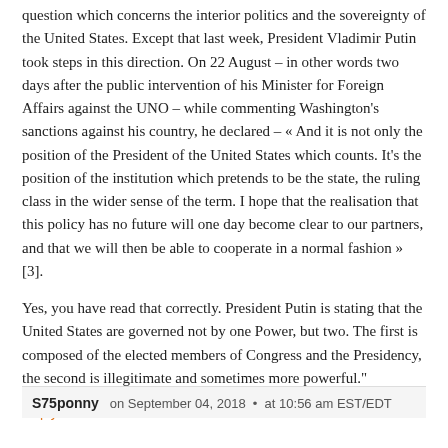question which concerns the interior politics and the sovereignty of the United States. Except that last week, President Vladimir Putin took steps in this direction. On 22 August – in other words two days after the public intervention of his Minister for Foreign Affairs against the UNO – while commenting Washington's sanctions against his country, he declared – « And it is not only the position of the President of the United States which counts. It's the position of the institution which pretends to be the state, the ruling class in the wider sense of the term. I hope that the realisation that this policy has no future will one day become clear to our partners, and that we will then be able to cooperate in a normal fashion » [3].
Yes, you have read that correctly. President Putin is stating that the United States are governed not by one Power, but two. The first is composed of the elected members of Congress and the Presidency, the second is illegitimate and sometimes more powerful."
Reply
S75ponny   on September 04, 2018  •  at 10:56 am EST/EDT